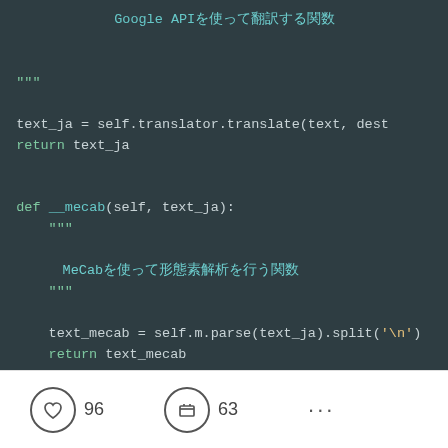[Figure (screenshot): Code editor screenshot showing Python code with syntax highlighting on dark background. Includes Japanese comments, Google API reference, def __mecab and def Preprocess methods with code for translation and MeCab parsing.]
96  63  ...